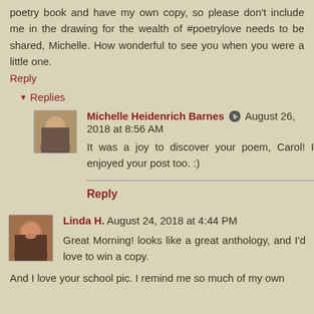poetry book and have my own copy, so please don't include me in the drawing for the wealth of #poetrylove needs to be shared, Michelle. How wonderful to see you when you were a little one.
Reply
Replies
Michelle Heidenrich Barnes  August 26, 2018 at 8:56 AM
It was a joy to discover your poem, Carol! I enjoyed your post too. :)
Reply
Linda H.  August 24, 2018 at 4:44 PM
Great Morning! looks like a great anthology, and I'd love to win a copy.
And I love your school pic. I remind me so much of my own